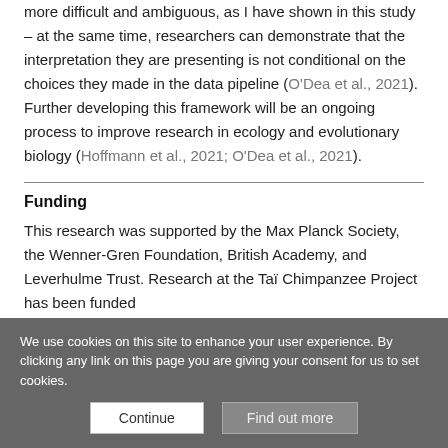more difficult and ambiguous, as I have shown in this study – at the same time, researchers can demonstrate that the interpretation they are presenting is not conditional on the choices they made in the data pipeline (O'Dea et al., 2021). Further developing this framework will be an ongoing process to improve research in ecology and evolutionary biology (Hoffmann et al., 2021; O'Dea et al., 2021).
Funding
This research was supported by the Max Planck Society, the Wenner-Gren Foundation, British Academy, and Leverhulme Trust. Research at the Taï Chimpanzee Project has been funded
We use cookies on this site to enhance your user experience. By clicking any link on this page you are giving your consent for us to set cookies.